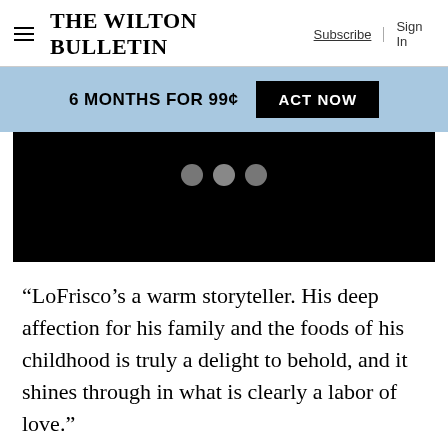THE WILTON BULLETIN   Subscribe | Sign In
6 MONTHS FOR 99¢   ACT NOW
[Figure (other): Black video player area with three gray dots indicating loading or slideshow navigation]
“LoFrisco’s a warm storyteller. His deep affection for his family and the foods of his childhood is truly a delight to behold, and it shines through in what is clearly a labor of love.”